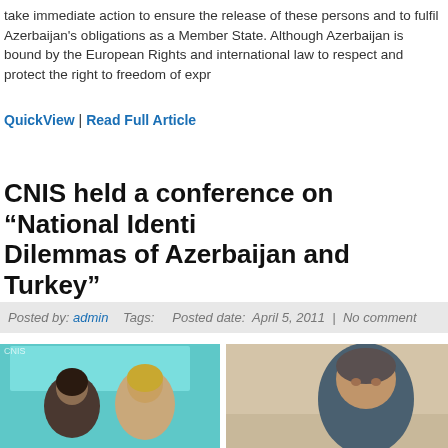take immediate action to ensure the release of these persons and to fulfil Azerbaijan's obligations as a Member State. Although Azerbaijan is bound by the European Convention on Human Rights and international law to respect and protect the right to freedom of expression...
QuickView | Read Full Article
CNIS held a conference on “National Identity and Dilemmas of Azerbaijan and Turkey”
Posted by: admin   Tags:   Posted date: April 5, 2011 | No comment
[Figure (photo): Conference photo showing two women seated on the left panel and a man speaking on the right panel]